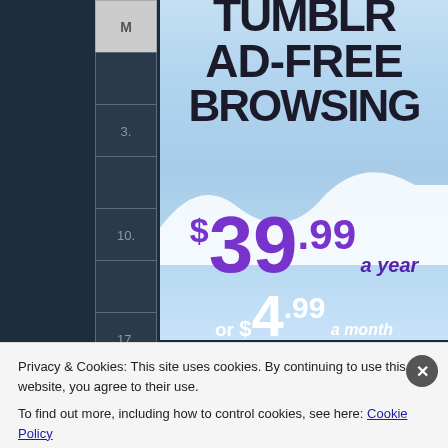[Figure (screenshot): Tumblr AD-FREE BROWSING advertisement showing $39.99 a year or $4.99 a month + FREE SHIPPING, displayed over a blue gradient background with a calendar sidebar on the left]
Privacy & Cookies: This site uses cookies. By continuing to use this website, you agree to their use.
To find out more, including how to control cookies, see here: Cookie Policy
Close and accept